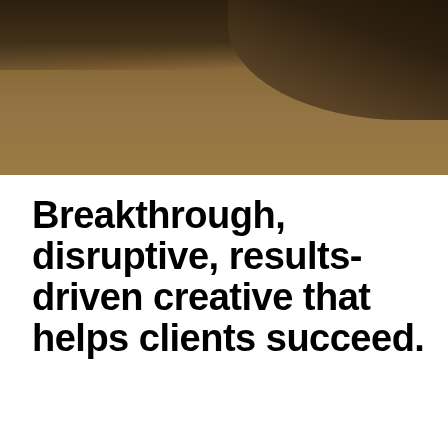[Figure (photo): Blurred photograph showing a hand or surface near a wooden desk/table, dark toned background with warm brown tones]
Breakthrough, disruptive, results-driven creative that helps clients succeed.
Karlin+Pimsler is considered to be one of the most respected, highly regarded DRTV creators by Direct Response Magazine, DR media agencies, clients and competitors alike. A multi-award